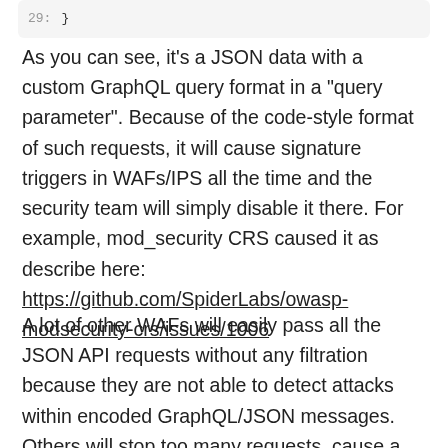[Figure (screenshot): Code snippet showing line 29 with a closing brace '}']
As you can see, it's a JSON data with a custom GraphQL query format in a "query parameter". Because of the code-style format of such requests, it will cause signature triggers in WAFs/IPS all the time and the security team will simply disable it there. For example, mod_security CRS caused it as describe here: https://github.com/SpiderLabs/owasp-modsecurity-crs/issues/1006
A lot of other WAFs will easily pass all the JSON API requests without any filtration because they are not able to detect attacks within encoded GraphQL/JSON messages. Others will stop too many requests, cause a windfall of false positives and get